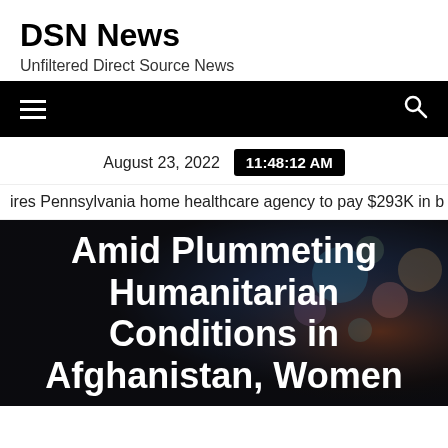DSN News
Unfiltered Direct Source News
[Figure (other): Navigation bar with hamburger menu icon on left and search icon on right, black background]
August 23, 2022  11:48:12 AM
ires Pennsylvania home healthcare agency to pay $293K in b
Amid Plummeting Humanitarian Conditions in Afghanistan, Women